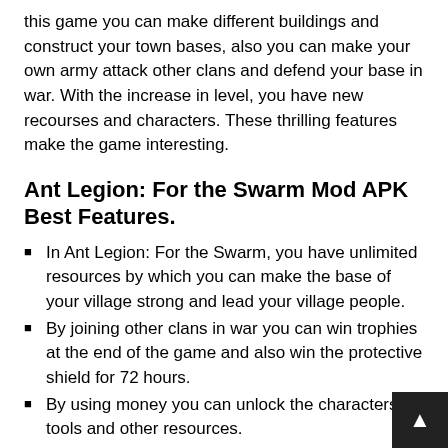this game you can make different buildings and construct your town bases, also you can make your own army attack other clans and defend your base in war. With the increase in level, you have new recourses and characters. These thrilling features make the game interesting.
Ant Legion: For the Swarm Mod APK Best Features.
In Ant Legion: For the Swarm, you have unlimited resources by which you can make the base of your village strong and lead your village people.
By joining other clans in war you can win trophies at the end of the game and also win the protective shield for 72 hours.
By using money you can unlock the characters, tools and other resources.
In this game, you are allowed to build your army for attacking other Ant Legion: For the Swarm.
Their visual quality is also so good. You can enjoy both the game and spectacular visual at a time.
Mod comes with various upgrade levels that allow y… to train your unique troops